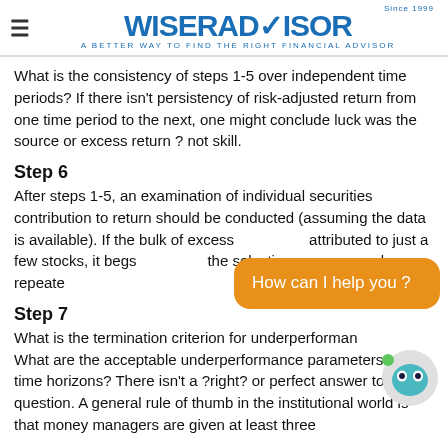WiserAdvisor — A Better Way to Find the Right Financial Advisor
What is the consistency of steps 1-5 over independent time periods? If there isn't persistency of risk-adjusted return from one time period to the next, one might conclude luck was the source or excess return ? not skill.
Step 6
After steps 1-5, an examination of individual securities contribution to return should be conducted (assuming the data is available). If the bulk of excess [return is] attributed to just a few stocks, it begs [the question if] the selection process can be repeate[d].
Step 7
What is the termination criterion for underperforman[ce]? What are the acceptable underperformance parameters and time horizons? There isn't a ?right? or perfect answer to this question. A general rule of thumb in the institutional world is that money managers are given at least three